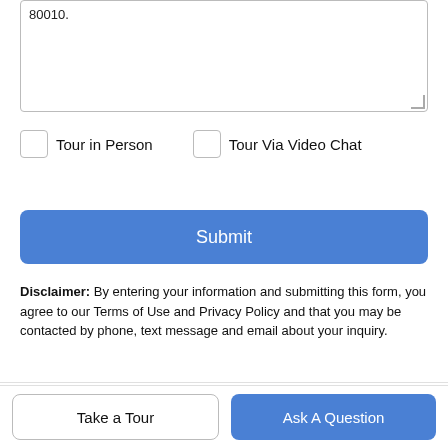80010.
Tour in Person
Tour Via Video Chat
Submit
Disclaimer: By entering your information and submitting this form, you agree to our Terms of Use and Privacy Policy and that you may be contacted by phone, text message and email about your inquiry.
Licensed in the State of Colorado, USA The content relating to real estate for sale in this Web site comes in part from the Internet Data eXchange (IDX) program of METROLIST, INC., DBA
Take a Tour
Ask A Question